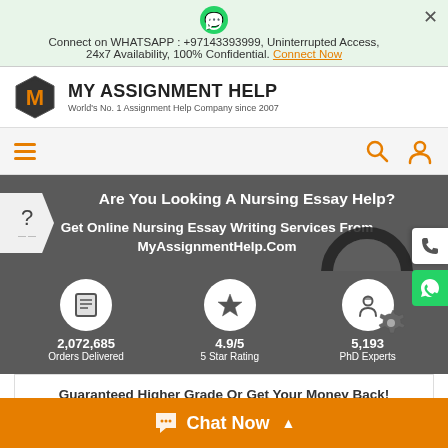Connect on WHATSAPP : +97143393999, Uninterrupted Access, 24x7 Availability, 100% Confidential. Connect Now
[Figure (logo): My Assignment Help logo with hexagonal M icon and text 'MY ASSIGNMENT HELP - World's No. 1 Assignment Help Company since 2007']
[Figure (infographic): Navigation bar with hamburger menu (orange), search icon, and user profile icon]
Are You Looking A Nursing Essay Help?
Get Online Nursing Essay Writing Services From MyAssignmentHelp.Com
2,072,685
Orders Delivered
4.9/5
5 Star Rating
5,193
PhD Experts
Guaranteed Higher Grade Or Get Your Money Back!
Chat Now